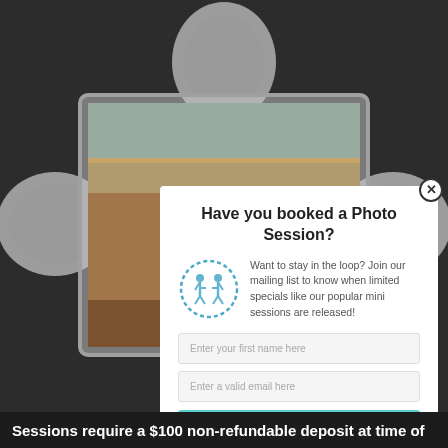[Figure (screenshot): Background showing decorative ornamental frame shape in dark gray/charcoal with a photo visible through the cutout showing an outdoor scene with warm sunset tones and a path/road and person silhouette. Blue-gray sky visible at top.]
Have you booked a Photo Session?
Want to stay in the loop? Join our mailing list to know when limited specials like our popular mini sessions are released!
Enter your first name here
Enter a valid email here
Subscribe
Your information will *never* be shared or sold to a 3rd party.
Sessions require a $100 non-refundable deposit at time of